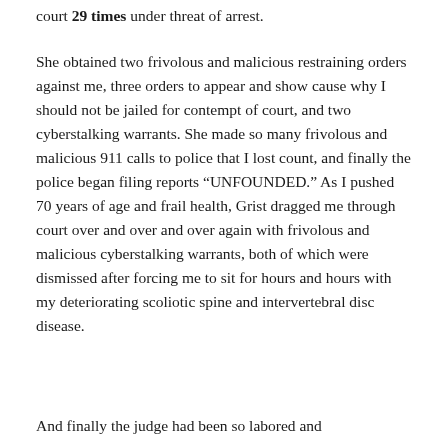court 29 times under threat of arrest.
She obtained two frivolous and malicious restraining orders against me, three orders to appear and show cause why I should not be jailed for contempt of court, and two cyberstalking warrants. She made so many frivolous and malicious 911 calls to police that I lost count, and finally the police began filing reports “UNFOUNDED.” As I pushed 70 years of age and frail health, Grist dragged me through court over and over and over again with frivolous and malicious cyberstalking warrants, both of which were dismissed after forcing me to sit for hours and hours with my deteriorating scoliotic spine and intervertebral disc disease.
And finally the judge had been so labored and